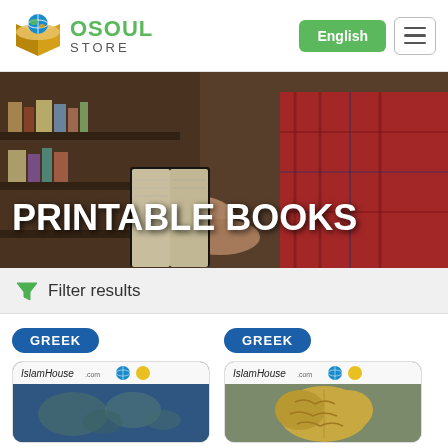OSOUL STORE — English
[Figure (photo): Hero banner showing a person holding an open book in a library, with text overlay 'PRINTABLE BOOKS']
PRINTABLE BOOKS
Filter results
[Figure (photo): Book card with GREEK tag and IslamHouse.com logo, showing a map image]
[Figure (photo): Book card with GREEK tag and IslamHouse.com logo, showing a brain image]